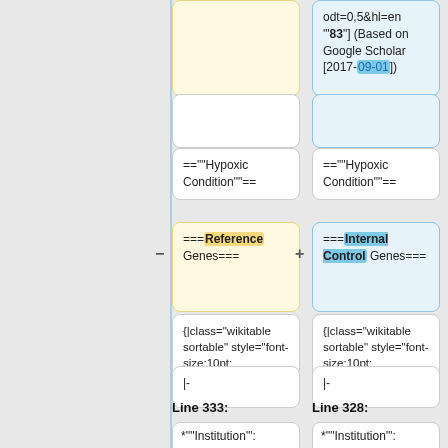odt=0,5&hl=en '"83"] (Based on Google Scholar [2017-09-01])
==""Hypoxic Condition""==
==""Hypoxic Condition""==
===Reference Genes===
===Internal Control Genes===
{|class="wikitable sortable" style="font-size:10pt; width:100%"
{|class="wikitable sortable" style="font-size:10pt; width:100%"
|-
|-
Line 333:
Line 328:
*'"Institution"':
*'"Institution"':